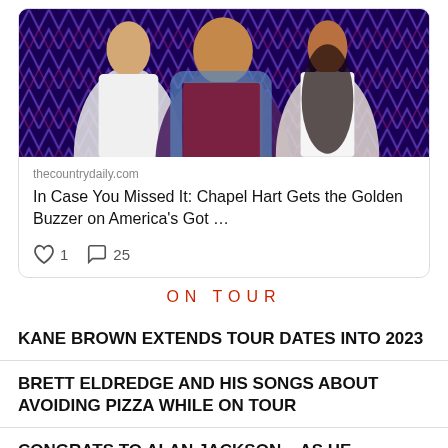[Figure (photo): Three women posing together in front of a blue/purple abstract background with geometric patterns. Left woman in white jacket, center woman in maroon top with denim jacket, right woman in white top.]
thecountrydaily.com
In Case You Missed It: Chapel Hart Gets the Golden Buzzer on America's Got …
1  25
ON TOUR
KANE BROWN EXTENDS TOUR DATES INTO 2023
BRETT ELDREDGE AND HIS SONGS ABOUT AVOIDING PIZZA WHILE ON TOUR
CONGRATS TO ALAN JACKSON – AS HE ANNOUNCES THAT HE'S GOING TO BE A GRANDFATHER